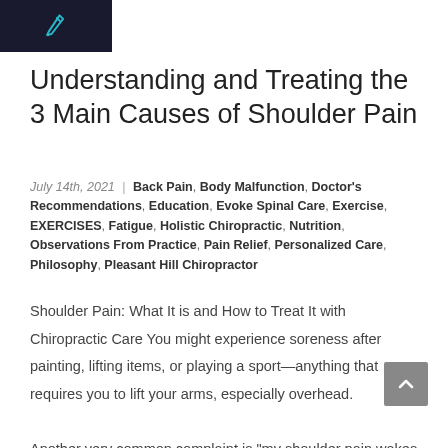[Figure (logo): Dark background logo with a teal pen/quill icon]
Understanding and Treating the 3 Main Causes of Shoulder Pain
July 14th, 2021 | Back Pain, Body Malfunction, Doctor's Recommendations, Education, Evoke Spinal Care, Exercise, EXERCISES, Fatigue, Holistic Chiropractic, Nutrition, Observations From Practice, Pain Relief, Personalized Care, Philosophy, Pleasant Hill Chiropractor
Shoulder Pain: What It is and How to Treat It with Chiropractic Care You might experience soreness after painting, lifting items, or playing a sport—anything that requires you to lift your arms, especially overhead. Another very common complaint is “my shoulder pain wakes me up at night”. This pain can occur whether or not one